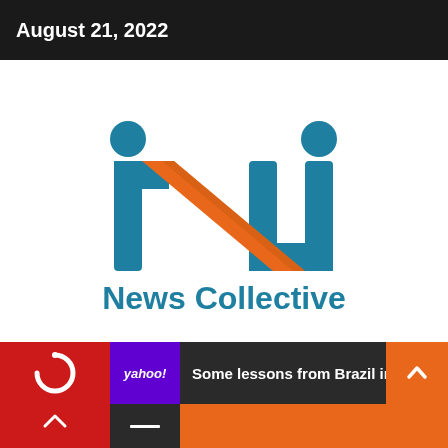August 21, 2022
[Figure (logo): News Collective logo: two stylized human figures formed by teal letter i shapes with circles as heads, an orange diagonal stripe forming an N shape between them, with 'News Collective' text in teal below]
Some lessons from Brazil in the 1990s to...